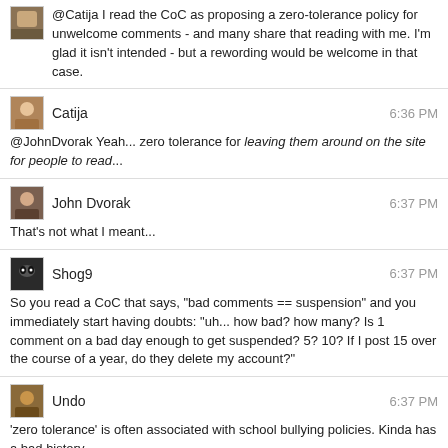@Catija I read the CoC as proposing a zero-tolerance policy for unwelcome comments - and many share that reading with me. I'm glad it isn't intended - but a rewording would be welcome in that case.
Catija  6:36 PM
@JohnDvorak Yeah... zero tolerance for leaving them around on the site for people to read...
John Dvorak  6:37 PM
That's not what I meant...
Shog9  6:37 PM
So you read a CoC that says, "bad comments == suspension" and you immediately start having doubts: "uh... how bad? how many? Is 1 comment on a bad day enough to get suspended? 5? 10? If I post 15 over the course of a year, do they delete my account?"
Undo  6:37 PM
'zero tolerance' is often associated with school bullying policies. Kinda has a bad history.
Shog9  6:37 PM
I'm actually completely unaware of that
John Dvorak  6:37 PM
@Undo all the more reason people hate the CoC
Shog9  6:37 PM